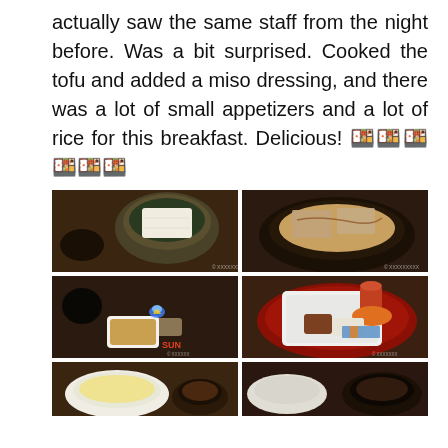actually saw the same staff from the night before. Was a bit surprised. Cooked the tofu and added a miso dressing, and there was a lot of small appetizers and a lot of rice for this breakfast. Delicious! 🍱🍱🍱🍱🍱🍱
[Figure (photo): Grid of food photos showing Japanese breakfast: tofu in dark ceramic bowl, cooked tofu with miso dressing in pan, small dipping sauce bowl with flame warmer on table, assorted appetizers in red lacquer bowl, partial view of rice bowl and side dishes.]